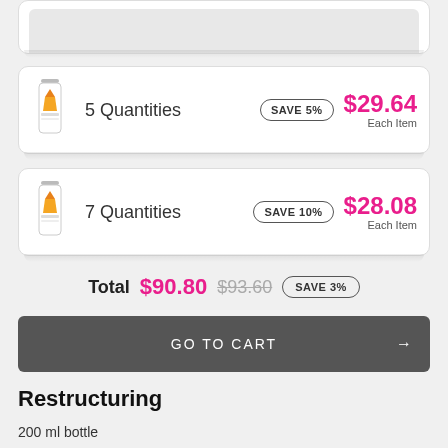[Figure (screenshot): Partial product card cropped at top of page]
5 Quantities   SAVE 5%   $29.64 Each Item
7 Quantities   SAVE 10%   $28.08 Each Item
Total $90.80 $93.60 SAVE 3%
GO TO CART →
Restructuring
200 ml bottle